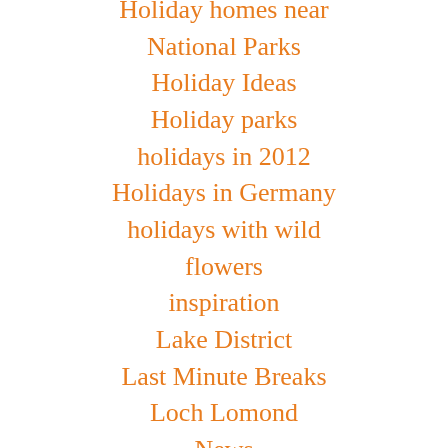Holiday homes near National Parks
Holiday Ideas
Holiday parks
holidays in 2012
Holidays in Germany
holidays with wild flowers
inspiration
Lake District
Last Minute Breaks
Loch Lomond
News
Personal Travel
Pet-friendly cottages
photography holidays
Plane Spotting